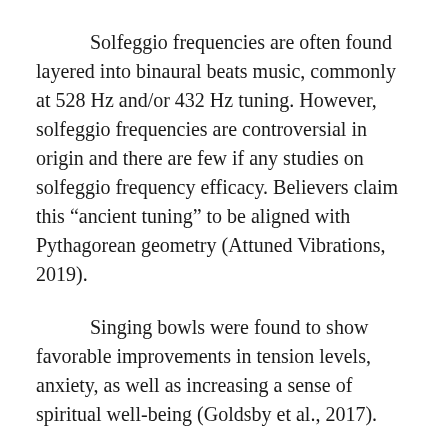Solfeggio frequencies are often found layered into binaural beats music, commonly at 528 Hz and/or 432 Hz tuning. However, solfeggio frequencies are controversial in origin and there are few if any studies on solfeggio frequency efficacy. Believers claim this “ancient tuning” to be aligned with Pythagorean geometry (Attuned Vibrations, 2019).
Singing bowls were found to show favorable improvements in tension levels, anxiety, as well as increasing a sense of spiritual well-being (Goldsby et al., 2017).